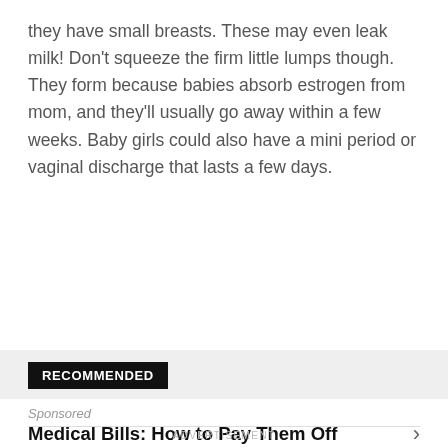they have small breasts. These may even leak milk! Don't squeeze the firm little lumps though. They form because babies absorb estrogen from mom, and they'll usually go away within a few weeks. Baby girls could also have a mini period or vaginal discharge that lasts a few days.
RECOMMENDED
Sponsored
Medical Bills: How to Pay Them Off
ADVERTISEMENT